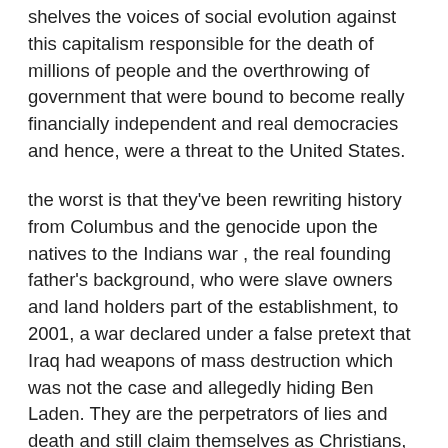shelves the voices of social evolution against this capitalism responsible for the death of millions of people and the overthrowing of government that were bound to become really financially independent and real democracies and hence, were a threat to the United States.
the worst is that they've been rewriting history from Columbus and the genocide upon the natives to the Indians war , the real founding father's background, who were slave owners and land holders part of the establishment, to 2001, a war declared under a false pretext that Iraq had weapons of mass destruction which was not the case and allegedly hiding Ben Laden. They are the perpetrators of lies and death and still claim themselves as Christians, embedded in fundamentalism.
this country is a shame for the rest of the international community and we all have to suffer the consequence of this stupid and selfish country influenced by the Israel lobby, the AIPAC to which any congressmen and